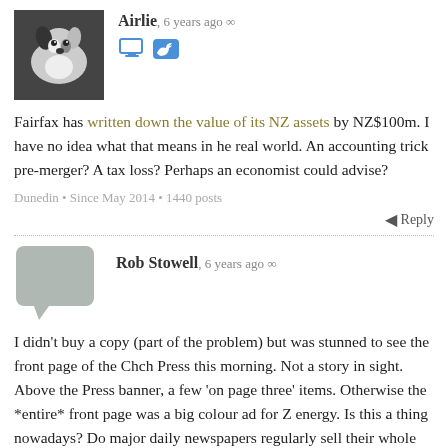[Figure (photo): Black and white photo of a dog (appears to be a Border Collie or similar), used as user avatar for commenter 'Airlie']
Airlie, 6 years ago ∞
[Figure (illustration): Two small social media icons: a monitor/computer icon and a Twitter bird icon]
Fairfax has written down the value of its NZ assets by NZ$100m. I have no idea what that means in he real world. An accounting trick pre-merger? A tax loss? Perhaps an economist could advise?
Dunedin • Since May 2014 • 1440 posts
Reply
[Figure (illustration): Speech bubble placeholder avatar (grey rounded rectangle with speech bubble tail) for Rob Stowell]
Rob Stowell, 6 years ago ∞
I didn't buy a copy (part of the problem) but was stunned to see the front page of the Chch Press this morning. Not a story in sight. Above the Press banner, a few 'on page three' items. Otherwise the *entire* front page was a big colour ad for Z energy. Is this a thing nowadays? Do major daily newspapers regularly sell their whole front page? It felt like watching "Things fall apart; the centre cannot hold" -